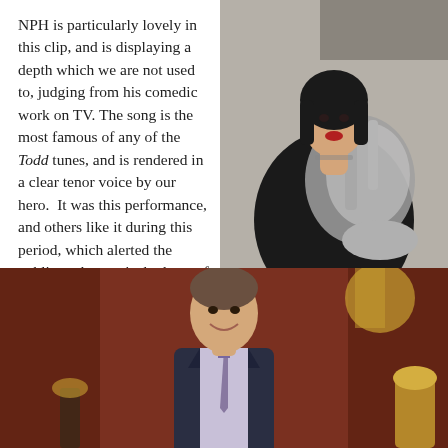NPH is particularly lovely in this clip, and is displaying a depth which we are not used to, judging from his comedic work on TV. The song is the most famous of any of the Todd tunes, and is rendered in a clear tenor voice by our hero. It was this performance, and others like it during this period, which alerted the public to the musical talents of Harris, and ultimately led to his current status as the go-to guy for musical hosting.
[Figure (photo): Woman with black bob haircut wearing black outfit, holding a large tuba instrument, posed for portrait photo]
As Mrs. Lovett in the Broadway revival, Lupone played the tuba.
[Figure (photo): Man in dark suit with tie smiling, seated at what appears to be a stage or studio setting with dark red background]